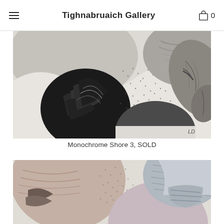Tighnabruaich Gallery  0
[Figure (photo): Close-up of a monochrome artwork showing dark feather-like or leaf-like shapes in black and grey tones, with dotted rain-like pattern and circular botanical forms, artist initials LD visible]
Monochrome Shore 3, SOLD
[Figure (photo): Partial view of another artwork showing circular pebble-like shapes in muted tones of pink, beige, grey and blue with textured hatching and dot patterns]